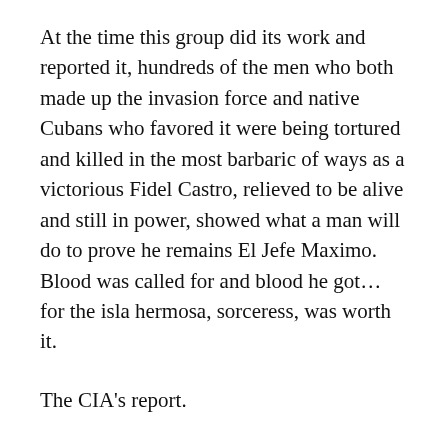At the time this group did its work and reported it, hundreds of the men who both made up the invasion force and native Cubans who favored it were being tortured and killed in the most barbaric of ways as a victorious Fidel Castro, relieved to be alive and still in power, showed what a man will do to prove he remains El Jefe Maximo. Blood was called for and blood he got… for the isla hermosa, sorceress, was worth it.
The CIA's report.
Doing now what it should have done before the invasion, the CIA released its report in November 1961. It was authored by CIA...